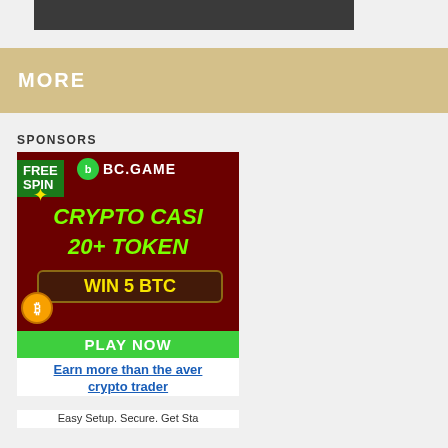[Figure (other): Dark gray navigation/header bar cropped at top]
MORE
SPONSORS
[Figure (illustration): BC.GAME crypto casino advertisement banner showing FREE SPIN, CRYPTO CASINO, 20+ TOKENS, WIN 5 BTC, PLAY NOW button on dark red background]
Earn more than the average crypto trader
Easy Setup. Secure. Get Started